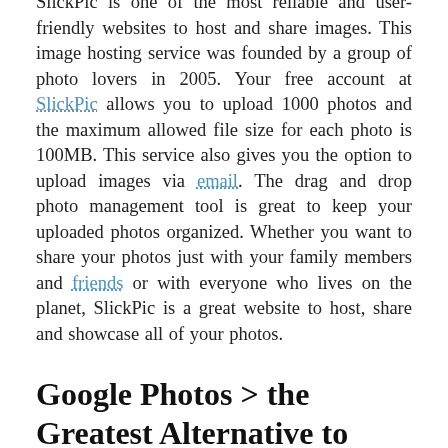SlickPic is one of the most reliable and user-friendly websites to host and share images. This image hosting service was founded by a group of photo lovers in 2005. Your free account at SlickPic allows you to upload 1000 photos and the maximum allowed file size for each photo is 100MB. This service also gives you the option to upload images via email. The drag and drop photo management tool is great to keep your uploaded photos organized. Whether you want to share your photos just with your family members and friends or with everyone who lives on the planet, SlickPic is a great website to host, share and showcase all of your photos.
Google Photos > the Greatest Alternative to Flickr
Announced by the search giant in the month of May